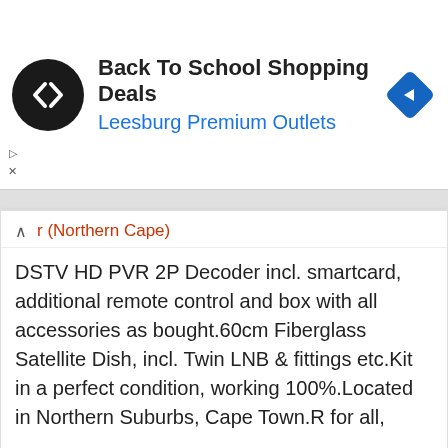[Figure (screenshot): Ad banner for Back To School Shopping Deals at Leesburg Premium Outlets, with circular logo on left and blue diamond navigation icon on right]
Back To School Shopping Deals
Leesburg Premium Outlets
r (Northern Cape)
DSTV HD PVR 2P Decoder incl. smartcard, additional remote control and box with all accessories as bought.60cm Fiberglass Satellite Dish, incl. Twin LNB & fittings etc.Kit in a perfect condition, working 100%.Located in Northern Suburbs, Cape Town.R for all,
See product